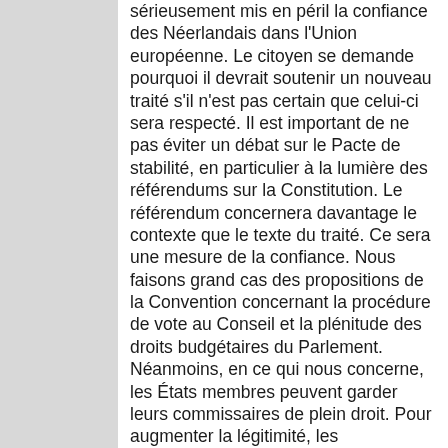sérieusement mis en péril la confiance des Néerlandais dans l'Union européenne. Le citoyen se demande pourquoi il devrait soutenir un nouveau traité s'il n'est pas certain que celui-ci sera respecté. Il est important de ne pas éviter un débat sur le Pacte de stabilité, en particulier à la lumière des référendums sur la Constitution. Le référendum concernera davantage le contexte que le texte du traité. Ce sera une mesure de la confiance. Nous faisons grand cas des propositions de la Convention concernant la procédure de vote au Conseil et la plénitude des droits budgétaires du Parlement. Néanmoins, en ce qui nous concerne, les États membres peuvent garder leurs commissaires de plein droit. Pour augmenter la légitimité, les commissaires devraient être élus directement par le Parlement européen, sans aucune nomination